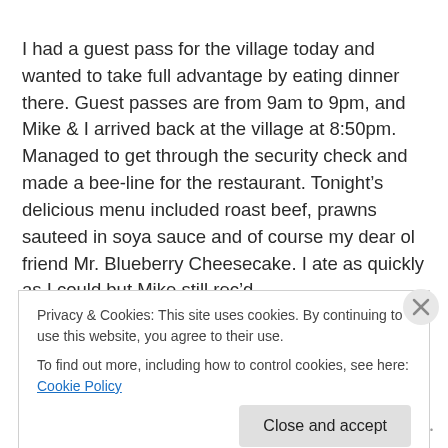I had a guest pass for the village today and wanted to take full advantage by eating dinner there. Guest passes are from 9am to 9pm, and Mike & I arrived back at the village at 8:50pm. Managed to get through the security check and made a bee-line for the restaurant. Tonight’s delicious menu included roast beef, prawns sauteed in soya sauce and of course my dear ol friend Mr. Blueberry Cheesecake. I ate as quickly as I could but Mike still rec’d
Privacy & Cookies: This site uses cookies. By continuing to use this website, you agree to their use.
To find out more, including how to control cookies, see here: Cookie Policy
Close and accept
Follow